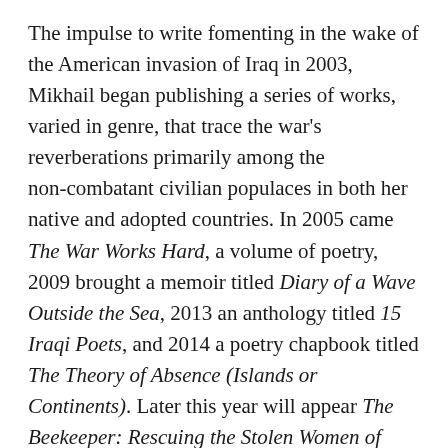The impulse to write fomenting in the wake of the American invasion of Iraq in 2003, Mikhail began publishing a series of works, varied in genre, that trace the war's reverberations primarily among the non-combatant civilian populaces in both her native and adopted countries. In 2005 came The War Works Hard, a volume of poetry, 2009 brought a memoir titled Diary of a Wave Outside the Sea, 2013 an anthology titled 15 Iraqi Poets, and 2014 a poetry chapbook titled The Theory of Absence (Islands or Continents). Later this year will appear The Beekeeper: Rescuing the Stolen Women of Iraq, a series of interviews with Yazidi (a small sect of Iraqi Christians) women who faced